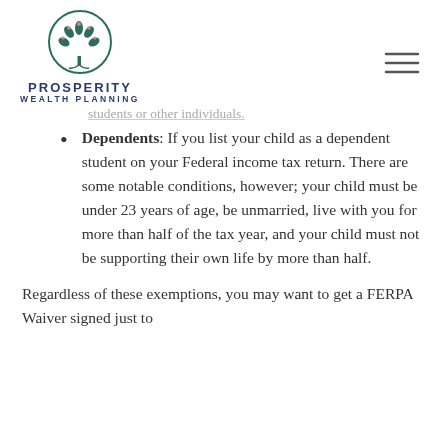PROSPERITY WEALTH PLANNING
students or other individuals. (truncated/faded)
Dependents: If you list your child as a dependent student on your Federal income tax return. There are some notable conditions, however; your child must be under 23 years of age, be unmarried, live with you for more than half of the tax year, and your child must not be supporting their own life by more than half.
Regardless of these exemptions, you may want to get a FERPA Waiver signed just to